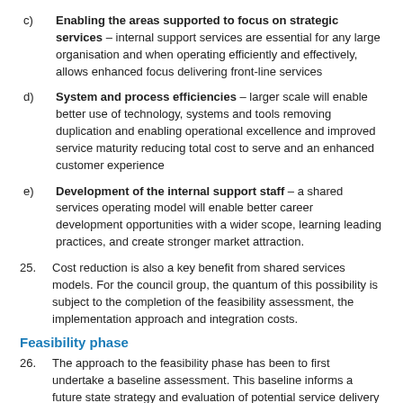c) Enabling the areas supported to focus on strategic services – internal support services are essential for any large organisation and when operating efficiently and effectively, allows enhanced focus delivering front-line services
d) System and process efficiencies – larger scale will enable better use of technology, systems and tools removing duplication and enabling operational excellence and improved service maturity reducing total cost to serve and an enhanced customer experience
e) Development of the internal support staff – a shared services operating model will enable better career development opportunities with a wider scope, learning leading practices, and create stronger market attraction.
25. Cost reduction is also a key benefit from shared services models. For the council group, the quantum of this possibility is subject to the completion of the feasibility assessment, the implementation approach and integration costs.
Feasibility phase
26. The approach to the feasibility phase has been to first undertake a baseline assessment. This baseline informs a future state strategy and evaluation of potential service delivery model options before developing an optimal possible target operating model for the council group.